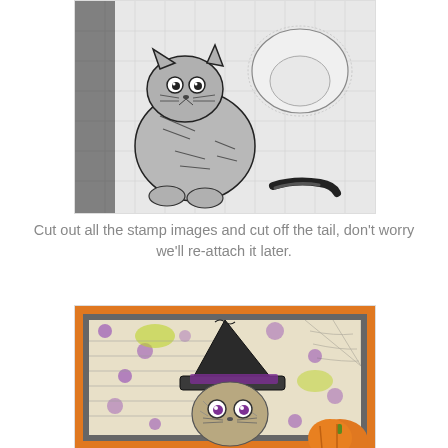[Figure (photo): Photo of cut-out stamp images of cats on a white surface with grid lines. One black and white striped cat sitting upright with wide eyes, one white cat from behind, and a detached black tail.]
Cut out all the stamp images and cut off the tail, don't worry we'll re-attach it later.
[Figure (photo): Halloween-themed craft card showing a cat wearing a tall black witch hat with purple eyes, on a decorative background with purple dots and text, with an orange pumpkin visible at bottom right, framed with orange and gray borders.]